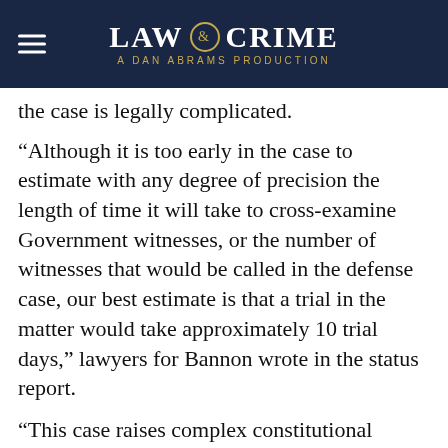LAW & CRIME — A DAN ABRAMS PRODUCTION
the case is legally complicated.
“Although it is too early in the case to estimate with any degree of precision the length of time it will take to cross-examine Government witnesses, or the number of witnesses that would be called in the defense case, our best estimate is that a trial in the matter would take approximately 10 trial days,” lawyers for Bannon wrote in the status report.
“This case raises complex constitutional issues of first impression,” Bannon’s status report said. “Some of these issues involve inter-branch